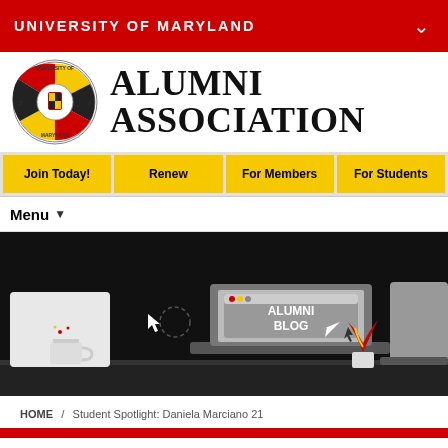UNIVERSITY OF MARYLAND
[Figure (logo): University of Maryland circular seal logo with red/gold/black colors, years 18 and 56]
ALUMNI ASSOCIATION
Join Today!
Renew
For Members
For Students
Menu
[Figure (illustration): Dark/black background illustration showing a laptop with a browser window displaying 'ALUMNI BLOG' text, a coffee mug, paper airplane, plant with red leaves, and other desktop objects. A cursor arrow is visible.]
HOME / Student Spotlight: Daniela Marciano 21